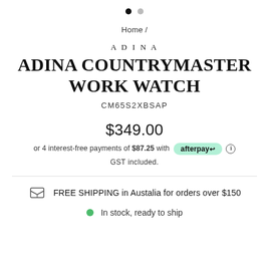[Figure (other): Image carousel navigation dots — one filled black dot and one grey dot indicating two slides]
Home /
ADINA
ADINA COUNTRYMASTER WORK WATCH
CM65S2XBSAP
$349.00
or 4 interest-free payments of $87.25 with afterpay ℹ
GST included.
FREE SHIPPING in Austalia for orders over $150
In stock, ready to ship